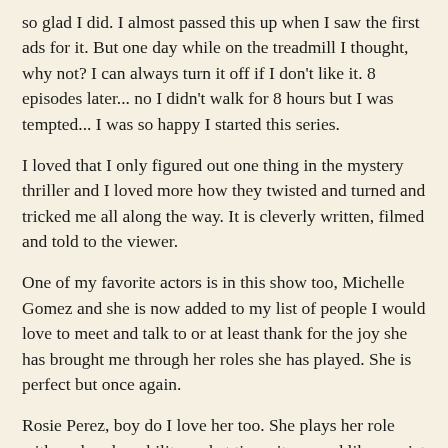so glad I did. I almost passed this up when I saw the first ads for it. But one day while on the treadmill I thought, why not? I can always turn it off if I don't like it. 8 episodes later... no I didn't walk for 8 hours but I was tempted... I was so happy I started this series.
I loved that I only figured out one thing in the mystery thriller and I loved more how they twisted and turned and tricked me all along the way. It is cleverly written, filmed and told to the viewer.
One of my favorite actors is in this show too, Michelle Gomez and she is now added to my list of people I would love to meet and talk to or at least thank for the joy she has brought me through her roles she has played. She is perfect but once again.
Rosie Perez, boy do I love her too. She plays her role with such vulnerability and at times it seemed like a quiet and small role but it is not and she doesn't let it be either. I know the series is coming back for a second season and I hope she is part of it. I need more of her on my screen and I really need to know what happens with her character, if they should decide to show us.
Zosia Mamet as Annie was spectacular. She went through the wringer as Cassie's best friend. Her role is critical to the story and